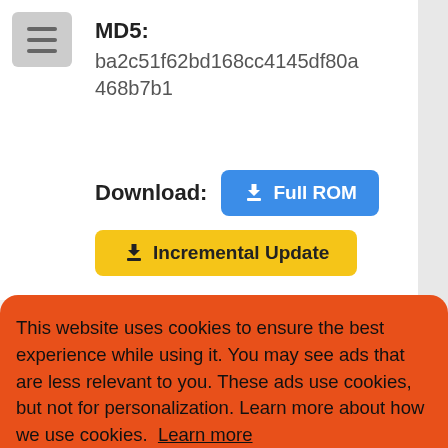MD5: ba2c51f62bd168cc4145df80a468b7b1
Download: Full ROM | Incremental Update
This website uses cookies to ensure the best experience while using it. You may see ads that are less relevant to you. These ads use cookies, but not for personalization. Learn more about how we use cookies. Learn more
Decline | Allow cookies